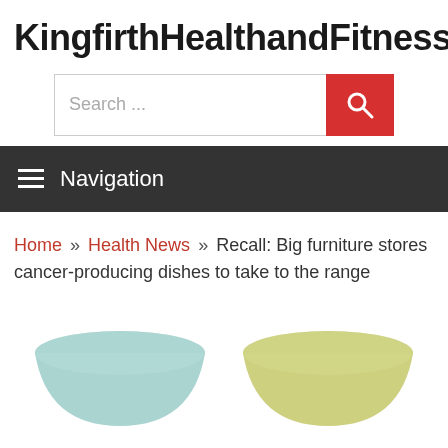KingfirthHealthandFitness
[Figure (screenshot): Search bar with text 'Search ...' and a red search button with magnifying glass icon]
Navigation
Home » Health News » Recall: Big furniture stores cancer-producing dishes to take to the range
[Figure (photo): Two bowls: one light blue/teal on the left, one yellow-green on the right, partially cropped at bottom of page]